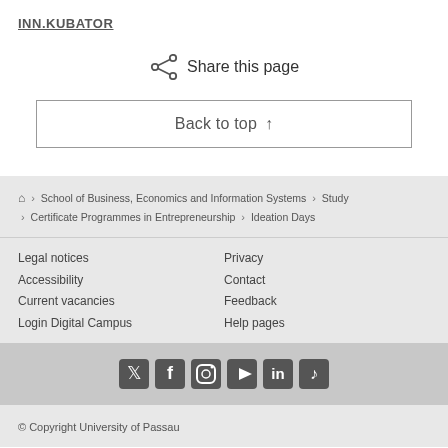INN.KUBATOR
Share this page
Back to top ↑
⌂ › School of Business, Economics and Information Systems › Study › Certificate Programmes in Entrepreneurship › Ideation Days
Legal notices
Privacy
Accessibility
Contact
Current vacancies
Feedback
Login Digital Campus
Help pages
[Figure (infographic): Social media icons: Twitter, Facebook, Instagram, YouTube, LinkedIn, TikTok]
© Copyright University of Passau